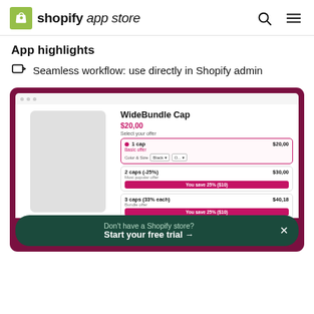shopify app store
App highlights
Seamless workflow: use directly in Shopify admin
[Figure (screenshot): Screenshot of WideBundle Cap product page in Shopify admin showing bundle offer selection UI with 1 cap, 2 caps (-25%), and 3 caps (33% each) options, prices, and ADD TO CART button]
Don't have a Shopify store? Start your free trial →